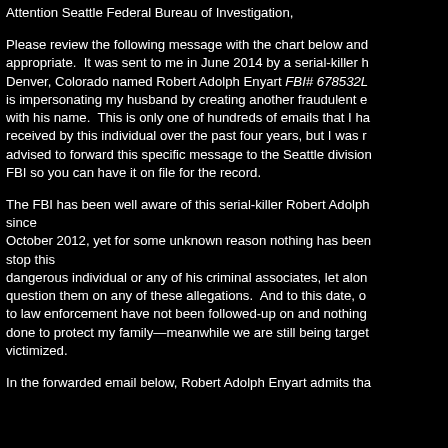Attention Seattle Federal Bureau of Investigation,
Please review the following message with the chart below and appropriate. It was sent to me in June 2014 by a serial-killer h Denver, Colorado named Robert Adolph Enyart FBI# 678532L is impersonating my husband by creating another fraudulent e with his name. This is only one of hundreds of emails that I ha received by this individual over the past four years, but I was r advised to forward this specific message to the Seattle division FBI so you can have it on file for the record.
The FBI has been well aware of this serial-killer Robert Adolph since October 2012, yet for some unknown reason nothing has been stop this dangerous individual or any of his criminal associates, let alon question them on any of these allegations. And to this date, o to law enforcement have not been followed-up on and nothing done to protect my family—meanwhile we are still being target victimized.
In the forwarded email below, Robert Adolph Enyart admits tha